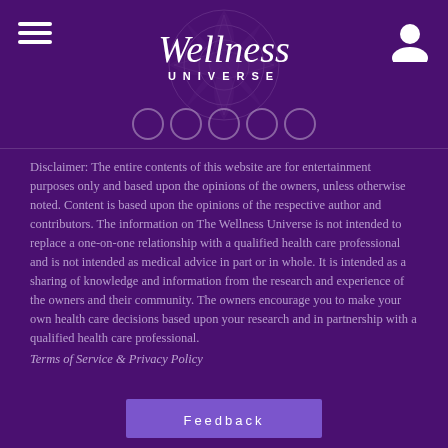[Figure (logo): Wellness Universe logo with mandala background, hamburger menu icon on left, user icon on right]
Disclaimer: The entire contents of this website are for entertainment purposes only and based upon the opinions of the owners, unless otherwise noted. Content is based upon the opinions of the respective author and contributors. The information on The Wellness Universe is not intended to replace a one-on-one relationship with a qualified health care professional and is not intended as medical advice in part or in whole. It is intended as a sharing of knowledge and information from the research and experience of the owners and their community. The owners encourage you to make your own health care decisions based upon your research and in partnership with a qualified health care professional.
Terms of Service & Privacy Policy
Feedback